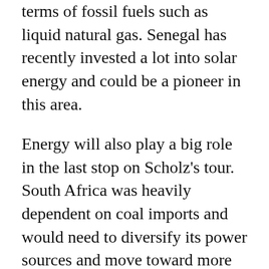terms of fossil fuels such as liquid natural gas. Senegal has recently invested a lot into solar energy and could be a pioneer in this area.
Energy will also play a big role in the last stop on Scholz's tour. South Africa was heavily dependent on coal imports and would need to diversify its power sources and move toward more environmentally friendly fuels. Since 2008, the country has had problems keeping up with energy demand.
There is incredible scope for South Africa and countries like Germany to partner and work with each other ... to seek investment, expertise, knowledge, technical know-how.